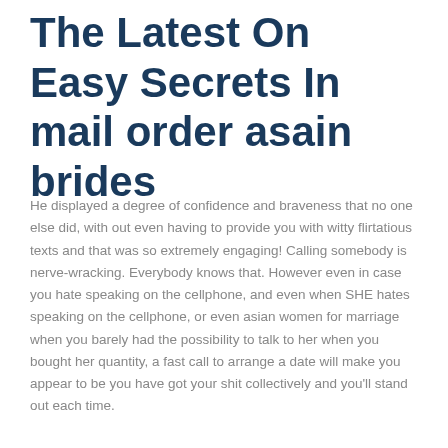The Latest On Easy Secrets In mail order asain brides
He displayed a degree of confidence and braveness that no one else did, with out even having to provide you with witty flirtatious texts and that was so extremely engaging! Calling somebody is nerve-wracking. Everybody knows that. However even in case you hate speaking on the cellphone, and even when SHE hates speaking on the cellphone, or even asian women for marriage when you barely had the possibility to talk to her when you bought her quantity, a fast call to arrange a date will make you appear to be you have got your shit collectively and you'll stand out each time.